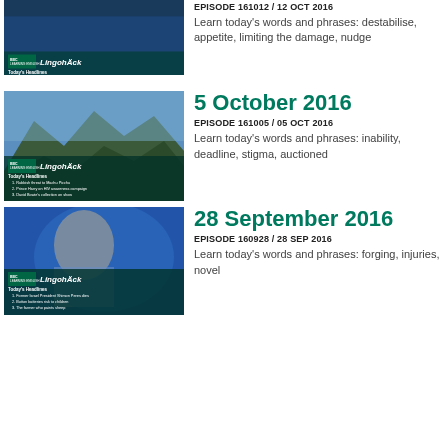[Figure (screenshot): BBC Lingohack thumbnail showing text headlines: 1. Is Russia hacking the US election? 2. The end of Samsung's Galaxy Note 7 3. The zoo where chimps 'learn to be chimps']
EPISODE 161012 / 12 OCT 2016
Learn today's words and phrases: destabilise, appetite, limiting the damage, nudge
[Figure (screenshot): BBC Lingohack thumbnail showing Machu Picchu mountains, Today's Headlines: 1. Rubbish threat to Machu Picchu 2. Prince Harry on HIV awareness campaign 3. David Bowie's collection on show]
5 October 2016
EPISODE 161005 / 05 OCT 2016
Learn today's words and phrases: inability, deadline, stigma, auctioned
[Figure (screenshot): BBC Lingohack thumbnail showing Shimon Peres, Today's Headlines: 1. Former Israel President Shimon Peres dies 2. Button batteries risk to children 3. The farmer who paints sheep]
28 September 2016
EPISODE 160928 / 28 SEP 2016
Learn today's words and phrases: forging, injuries, novel